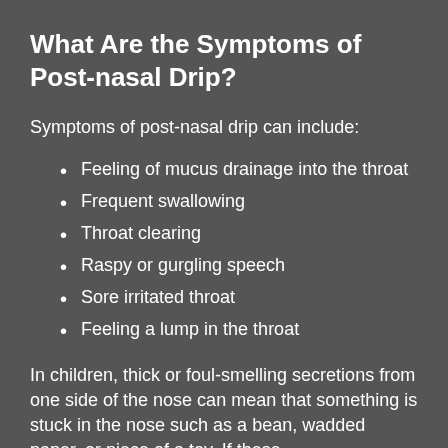What Are the Symptoms of Post-nasal Drip?
Symptoms of post-nasal drip can include:
Feeling of mucus drainage into the throat
Frequent swallowing
Throat clearing
Raspy or gurgling speech
Sore irritated throat
Feeling a lump in the throat
In children, thick or foul-smelling secretions from one side of the nose can mean that something is stuck in the nose such as a bean, wadded paper, or piece of a toy. If these